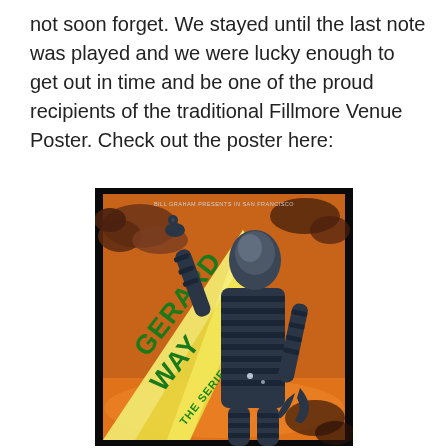not soon forget. We stayed until the last note was played and we were lucky enough to get out in time and be one of the proud recipients of the traditional Fillmore Venue Poster. Check out the poster here:
[Figure (photo): A concert poster for Gerard Way - The Series, featuring a retro sci-fi style robot/alien figure in dark blue armor with segmented body, raising one arm with a wrench-like hand. The robot emits a bright yellow beam of light from its helmet across the poster. The text 'GERARD WAY THE SERIES' appears in large green letters along the light beam. The background shows an orange-brown sky with dark clouds. Small text at the top reads 'Bill Graham Presents in San Francisco'.]